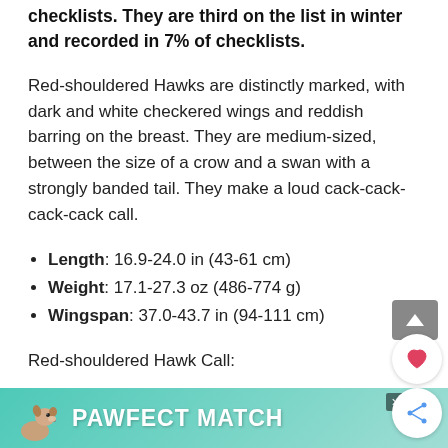checklists. They are third on the list in winter and recorded in 7% of checklists.
Red-shouldered Hawks are distinctly marked, with dark and white checkered wings and reddish barring on the breast. They are medium-sized, between the size of a crow and a swan with a strongly banded tail. They make a loud cack-cack-cack-cack call.
Length: 16.9-24.0 in (43-61 cm)
Weight: 17.1-27.3 oz (486-774 g)
Wingspan: 37.0-43.7 in (94-111 cm)
Red-shouldered Hawk Call:
[Figure (other): Advertisement banner: PAWFECT MATCH with dog image on teal/turquoise background]